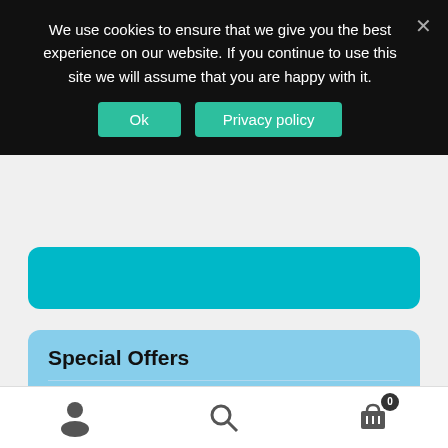We use cookies to ensure that we give you the best experience on our website. If you continue to use this site we will assume that you are happy with it.
Ok
Privacy policy
Special Offers
Under the Tuscan Sun Holiday (7 nights 4*Hotel)
From: €999,00